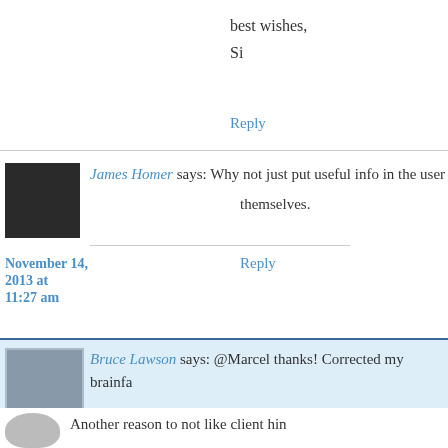best wishes,
Si
Reply
[Figure (photo): Avatar photo of James Homer, dark grayscale headshot]
James Homer says: Why not just put useful info in the user themselves.
November 14, 2013 at 11:27 am
Reply
[Figure (photo): Avatar photo of Bruce Lawson wearing a crown, color photo]
Bruce Lawson says: @Marcel thanks! Corrected my brainfa
@simon I wouldn't use srcset or src-* i proposals will be implemented without ch changes and your HTML no longer functi
Dr. November 14, 2013 at 12:19 pm
@James putting info in the User Agent str above.
Reply
Another reason to not like client hin